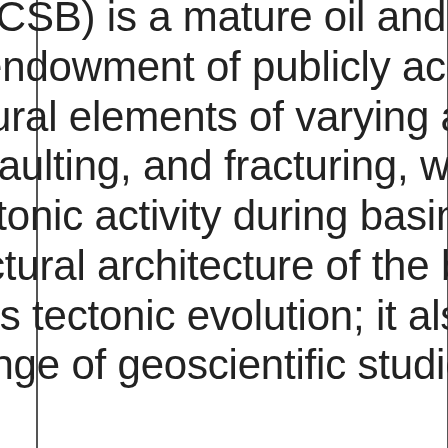Sedimentary Basin (WCSB) is a mature oil and gas basin with an extraordinary endowment of publicly accessible data. It contains structural elements of varying age, expressed as folding, faulting, and fracturing, which provide a record of tectonic activity during basin evolution. Knowledge of the structural architecture of the basin is crucial to understand its tectonic evolution; it also provides essential input for a range of geoscientific studies